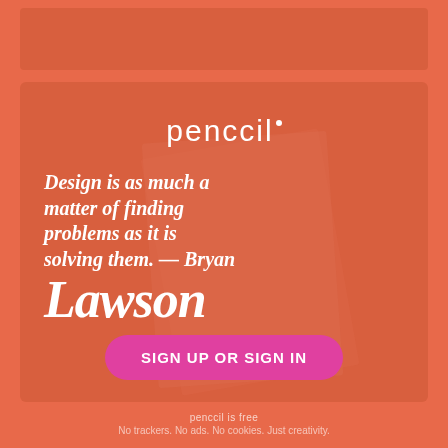[Figure (logo): Penccil logo in white text on orange-red background]
Design is as much a matter of finding problems as it is solving them. — Bryan Lawson
SIGN UP or SIGN IN
penccil is free
No trackers. No ads. No cookies. Just creativity.